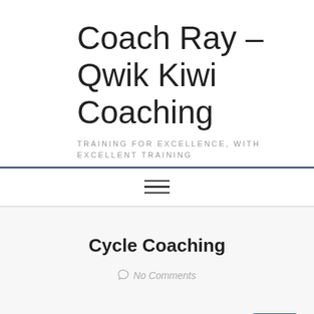Coach Ray – Qwik Kiwi Coaching
TRAINING FOR EXCELLENCE, WITH EXCELLENT TRAINING
[Figure (other): Hamburger menu icon with three horizontal lines]
Cycle Coaching
No Comments